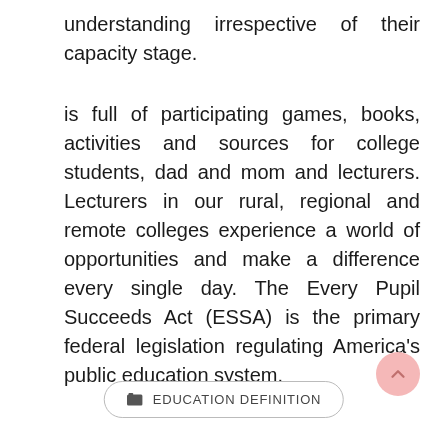understanding irrespective of their capacity stage.
is full of participating games, books, activities and sources for college students, dad and mom and lecturers. Lecturers in our rural, regional and remote colleges experience a world of opportunities and make a difference every single day. The Every Pupil Succeeds Act (ESSA) is the primary federal legislation regulating America’s public education system.
EDUCATION DEFINITION